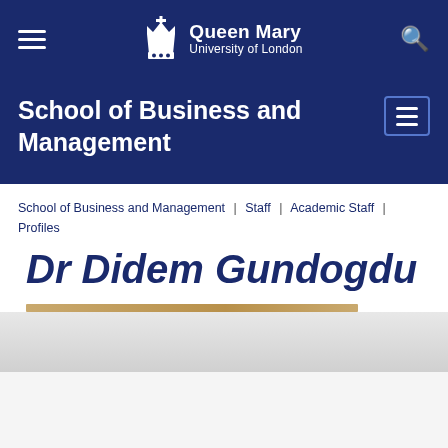Queen Mary University of London
School of Business and Management
School of Business and Management | Staff | Academic Staff | Profiles
Dr Didem Gundogdu
[Figure (photo): Partial view of a profile photo at the bottom of the page, with a tan/gold horizontal bar visible at the top of the image]